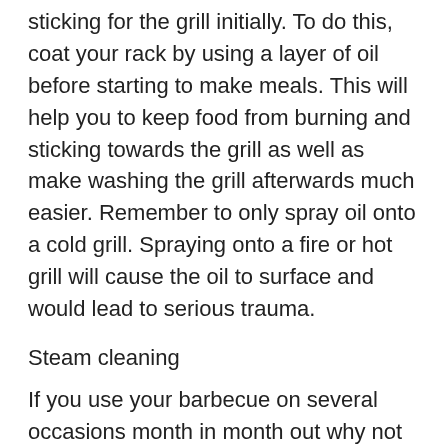sticking for the grill initially. To do this, coat your rack by using a layer of oil before starting to make meals. This will help you to keep food from burning and sticking towards the grill as well as make washing the grill afterwards much easier. Remember to only spray oil onto a cold grill. Spraying onto a fire or hot grill will cause the oil to surface and would lead to serious trauma.
Steam cleaning
If you use your barbecue on several occasions month in month out why not invest within a steam product? This will speed up the time taken to clean off your barbecue after use and can be very effective indeed; therefore for anyone who is fed at the top of scrubbing to remove the BBQ residue, an investment vehicle in a steam cleaner can be very useful and time saving.